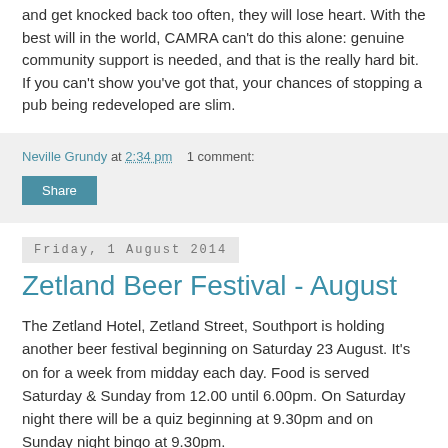and get knocked back too often, they will lose heart. With the best will in the world, CAMRA can't do this alone: genuine community support is needed, and that is the really hard bit. If you can't show you've got that, your chances of stopping a pub being redeveloped are slim.
Neville Grundy at 2:34 pm   1 comment:
Share
Friday, 1 August 2014
Zetland Beer Festival - August
The Zetland Hotel, Zetland Street, Southport is holding another beer festival beginning on Saturday 23 August. It's on for a week from midday each day. Food is served Saturday & Sunday from 12.00 until 6.00pm. On Saturday night there will be a quiz beginning at 9.30pm and on Sunday night bingo at 9.30pm.
The Zetland has a well-kept bowling green; in fact, it's the